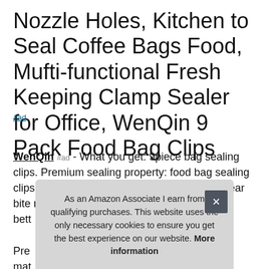Nozzle Holes, Kitchen to Seal Coffee Bags Food, Mufti-functional Fresh Keeping Clamp Sealer for Office, WenQin 9 Pack Food Bag Clips
#ad
WenQin #ad - What you get: 9piece bag sealing clips. Premium sealing property: food bag sealing clips seal striping is designed with a double gear bite method, not only keeps fresh, but [also makes a] bett[er seal...] Pre[mium] mat[erials...]
As an Amazon Associate I earn from qualifying purchases. This website uses the only necessary cookies to ensure you get the best experience on our website. More information